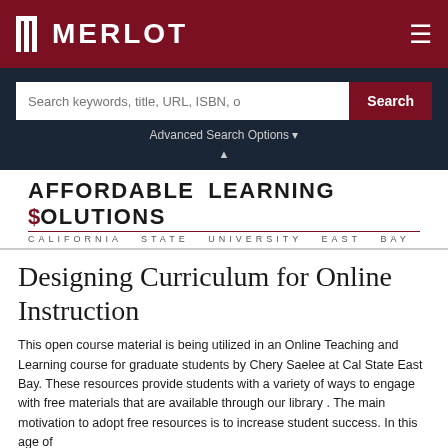[Figure (logo): MERLOT logo and navigation bar with hamburger menu on dark red background]
[Figure (screenshot): Search bar with placeholder text 'Search keywords, title, URL, ISBN, o' and a red Search button on dark navy background, with Advanced Search Options link below]
[Figure (logo): Affordable Learning Solutions logo - California State University East Bay]
Designing Curriculum for Online Instruction
This open course material is being utilized in an Online Teaching and Learning course for graduate students by Chery Saelee at Cal State East Bay. These resources provide students with a variety of ways to engage with free materials that are available through our library . The main motivation to adopt free resources is to increase student success. In this age of